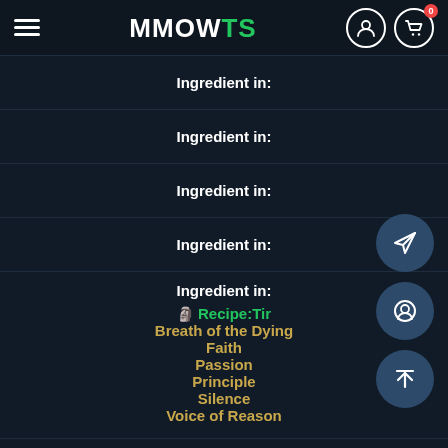MMOWTS
Ingredient in:
Ingredient in:
Ingredient in:
Ingredient in:
Ingredient in:
Recipe:Tir
Breath of the Dying
Faith
Passion
Principle
Silence
Voice of Reason
Product of: